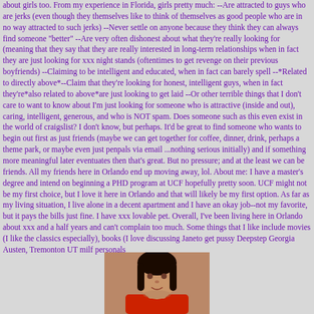about girls too. From my experience in Florida, girls pretty much: --Are attracted to guys who are jerks (even though they themselves like to think of themselves as good people who are in no way attracted to such jerks) --Never settle on anyone because they think they can always find someone "better" --Are very often dishonest about what they're really looking for (meaning that they say that they are really interested in long-term relationships when in fact they are just looking for xxx night stands (oftentimes to get revenge on their previous boyfriends) --Claiming to be intelligent and educated, when in fact can barely spell --*Related to directly above*--Claim that they're looking for honest, intelligent guys, when in fact they're*also related to above*are just looking to get laid --Or other terrible things that I don't care to want to know about I'm just looking for someone who is attractive (inside and out), caring, intelligent, generous, and who is NOT spam. Does someone such as this even exist in the world of craigslist? I don't know, but perhaps. It'd be great to find someone who wants to begin out first as just friends (maybe we can get together for coffee, dinner, drink, perhaps a theme park, or maybe even just penpals via email ...nothing serious initially) and if something more meaningful later eventuates then that's great. But no pressure; and at the least we can be friends. All my friends here in Orlando end up moving away, lol. About me: I have a master's degree and intend on beginning a PHD program at UCF hopefully pretty soon. UCF might not be my first choice, but I love it here in Orlando and that will likely be my first option. As far as my living situation, I live alone in a decent apartment and I have an okay job--not my favorite, but it pays the bills just fine. I have xxx lovable pet. Overall, I've been living here in Orlando about xxx and a half years and can't complain too much. Some things that I like include movies (I like the classics especially), books (I love discussing Janeto get pussy Deepstep Georgia Austen, Tremonton UT milf personals
[Figure (photo): Photo of a woman with long dark hair wearing a red top, photographed from roughly shoulder height up]